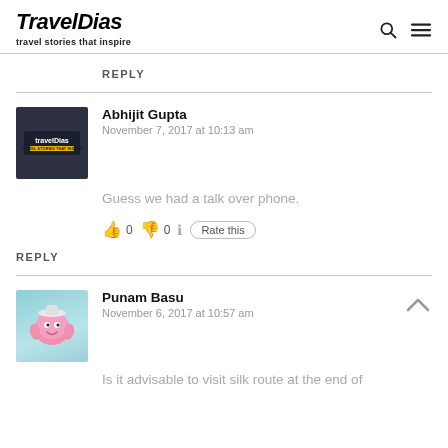TravelDias — travel stories that inspire
REPLY
Abhijit Gupta
November 7, 2017 at 10:13 am
Guess we had a talk over phone.
👍 0 👎 0 ℹ️ Rate this
REPLY
Punam Basu
November 6, 2017 at 10:57 am
Is it advisable to visit silk route at the end of